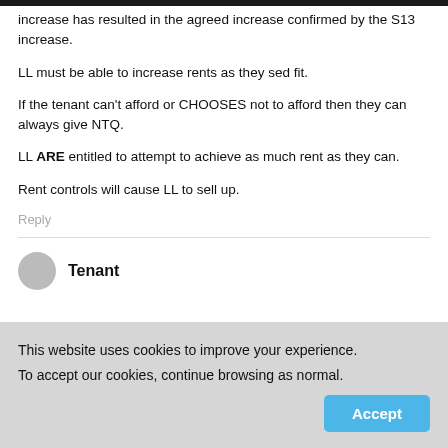increase has resulted in the agreed increase confirmed by the S13 increase.
LL must be able to increase rents as they sed fit.
If the tenant can't afford or CHOOSES not to afford then they can always give NTQ.
LL ARE entitled to attempt to achieve as much rent as they can.
Rent controls will cause LL to sell up.
Reply
Tenant